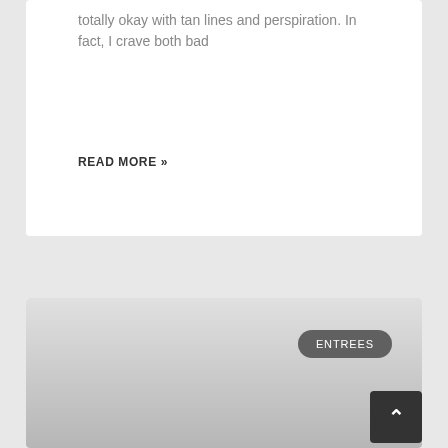totally okay with tan lines and perspiration. In fact, I crave both bad
READ MORE »
[Figure (photo): A food/recipe card image placeholder with gradient from light gray to darker gray, with an 'ENTREES' badge in the top right corner]
Garlic and Herbs Grilled Chicken
I have another grilled chicken recipe for you —